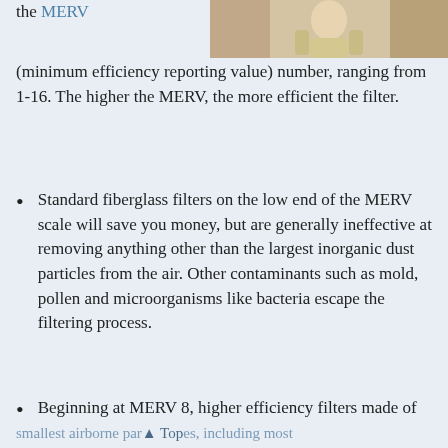[Figure (photo): Photo of a person (partially visible, top portion) in a light yellow shirt against a light background]
the MERV (minimum efficiency reporting value) number, ranging from 1-16. The higher the MERV, the more efficient the filter.
Standard fiberglass filters on the low end of the MERV scale will save you money, but are generally ineffective at removing anything other than the largest inorganic dust particles from the air. Other contaminants such as mold, pollen and microorganisms like bacteria escape the filtering process.
Beginning at MERV 8, higher efficiency filters made of pleated, electrostatically charged microfibers remove over 80 percent of the smallest airborne particles, including most
smallest airborne par▲ Top es, including most
▲ Top